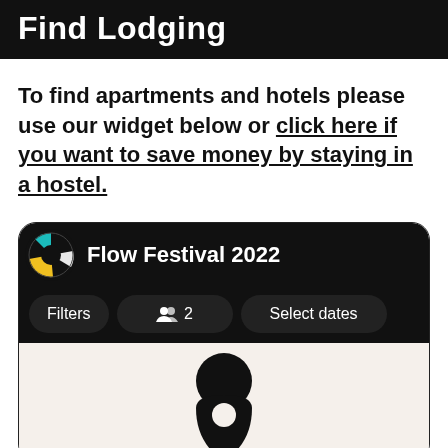Find Lodging
To find apartments and hotels please use our widget below or click here if you want to save money by staying in a hostel.
[Figure (screenshot): A hotel booking widget for Flow Festival 2022 with a black header bar containing the festival logo (circular, teal/yellow/black segments), the title 'Flow Festival 2022', filter buttons labeled 'Filters', a guests count showing a people icon and '2', and 'Select dates'. Below the filters is a beige/cream content area with a partial dark person/location icon at the bottom.]